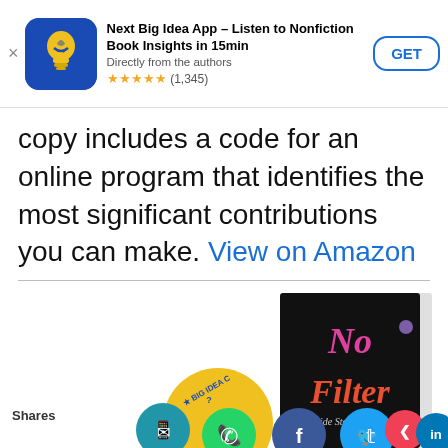[Figure (screenshot): App store advertisement banner for Next Big Idea App with icon, title, rating, and GET button]
copy includes a code for an online program that identifies the most significant contributions you can make. View on Amazon
[Figure (photo): Book cover of 'No Filter: The Inside Story of Instagram' shown at angle with social sharing icons overlaid at bottom]